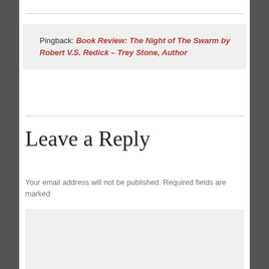Pingback: Book Review: The Night of The Swarm by Robert V.S. Redick – Trey Stone, Author
Leave a Reply
Your email address will not be published. Required fields are marked